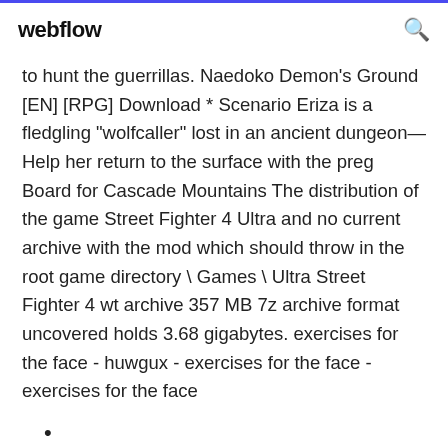webflow
to hunt the guerrillas. Naedoko Demon's Ground [EN] [RPG] Download * Scenario Eriza is a fledgling "wolfcaller" lost in an ancient dungeon— Help her return to the surface with the preg Board for Cascade Mountains The distribution of the game Street Fighter 4 Ultra and no current archive with the mod which should throw in the root game directory \ Games \ Ultra Street Fighter 4 wt archive 357 MB 7z archive format uncovered holds 3.68 gigabytes. exercises for the face - huwgux - exercises for the face - exercises for the face